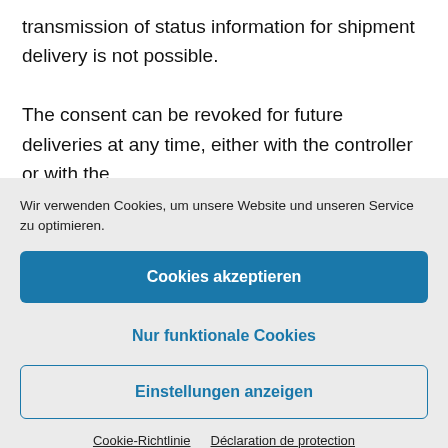transmission of status information for shipment delivery is not possible.
The consent can be revoked for future deliveries at any time, either with the controller or with the
Wir verwenden Cookies, um unsere Website und unseren Service zu optimieren.
Cookies akzeptieren
Nur funktionale Cookies
Einstellungen anzeigen
Cookie-Richtlinie   Déclaration de protection